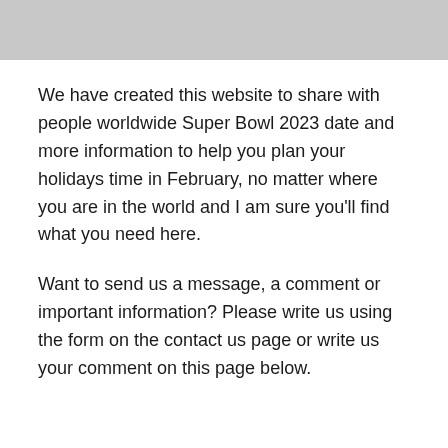[Figure (photo): Grey image placeholder at top of page]
We have created this website to share with people worldwide Super Bowl 2023 date and more information to help you plan your holidays time in February, no matter where you are in the world and I am sure you'll find what you need here.
Want to send us a message, a comment or important information? Please write us using the form on the contact us page or write us your comment on this page below.